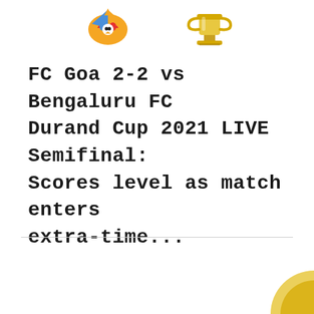[Figure (illustration): FC Goa team logo (colorful bird/mascot) and a trophy/cup illustration at the top of the page]
FC Goa 2-2 vs Bengaluru FC Durand Cup 2021 LIVE Semifinal: Scores level as match enters extra-time...